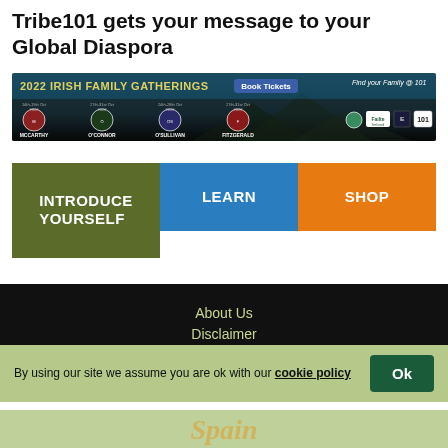Tribe101 gets your message to your Global Diaspora
[Figure (screenshot): 2022 Irish Family Gatherings promotional banner with clan crests for McCarthy, O'Connor, O'Sullivan, Fitzgerald and logos]
INTRODUCE YOURSELF
LEARN
SHOP
About Us
Disclaimer
Site map
By using our site we assume you are ok with our cookie policy
Spain